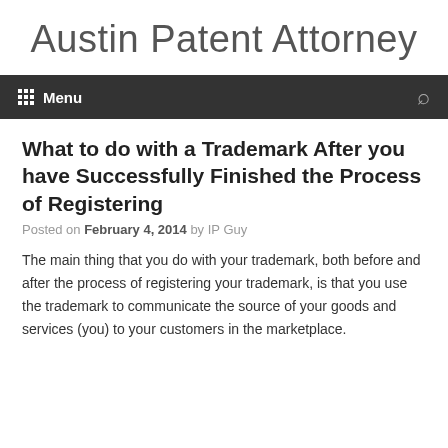Austin Patent Attorney
What to do with a Trademark After you have Successfully Finished the Process of Registering
Posted on February 4, 2014 by IP Guy
The main thing that you do with your trademark, both before and after the process of registering your trademark, is that you use the trademark to communicate the source of your goods and services (you) to your customers in the marketplace.